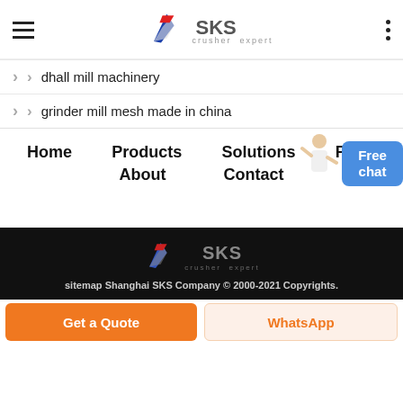SKS crusher expert
dhall mill machinery
grinder mill mesh made in china
Home   Products   Solutions   Proje[cts]   About   Contact
[Figure (logo): SKS crusher expert logo in footer, white/grey on black background]
sitemap Shanghai SKS Company © 2000-2021 Copyrights.
Get a Quote   WhatsApp